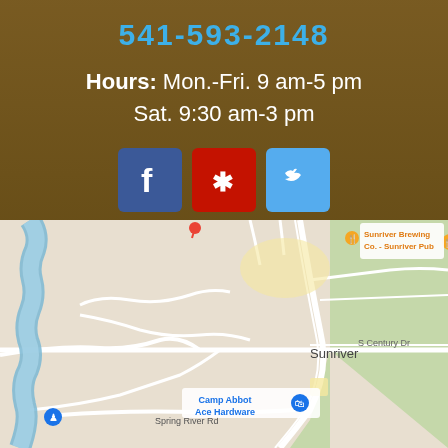541-593-2148
Hours: Mon.-Fri. 9 am-5 pm Sat. 9:30 am-3 pm
[Figure (infographic): Social media icons: Facebook (blue), Yelp (red), Twitter (light blue)]
[Figure (map): Google Maps screenshot showing Sunriver, Oregon area with roads, river, and labeled locations including Sunriver Brewing Co. - Sunriver Pub, Camp Abbot Ace Hardware, Spring River Rd, S Century Dr]